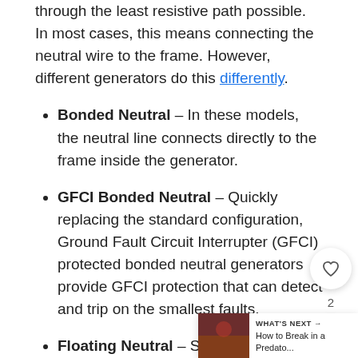through the least resistive path possible. In most cases, this means connecting the neutral wire to the frame. However, different generators do this differently.
Bonded Neutral – In these models, the neutral line connects directly to the frame inside the generator.
GFCI Bonded Neutral – Quickly replacing the standard configuration, Ground Fault Circuit Interrupter (GFCI) protected bonded neutral generators provide GFCI protection that can detect and trip on the smallest faults.
Floating Neutral – Some generators use a floating neutral design that keeps their neutral